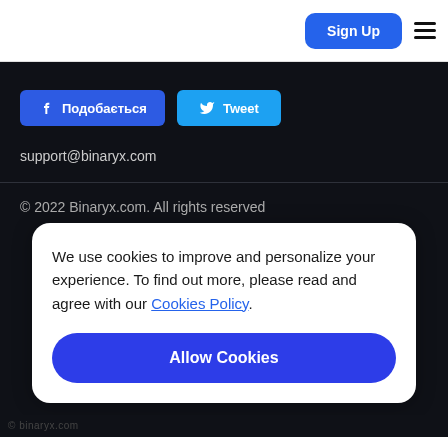Sign Up ☰
[Figure (other): Facebook Like button labeled 'Подобається' and Twitter Tweet button]
support@binaryx.com
© 2022 Binaryx.com. All rights reserved
We use cookies to improve and personalize your experience. To find out more, please read and agree with our Cookies Policy.
Allow Cookies